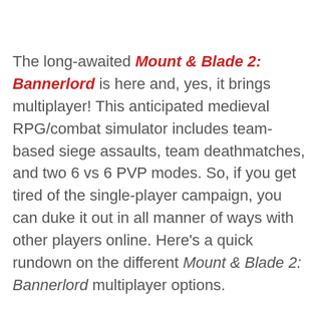The long-awaited Mount & Blade 2: Bannerlord is here and, yes, it brings multiplayer! This anticipated medieval RPG/combat simulator includes team-based siege assaults, team deathmatches, and two 6 vs 6 PVP modes. So, if you get tired of the single-player campaign, you can duke it out in all manner of ways with other players online. Here's a quick rundown on the different Mount & Blade 2: Bannerlord multiplayer options.